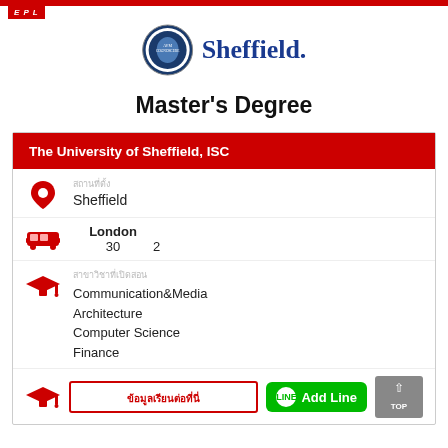EFL
[Figure (logo): University of Sheffield crest and Sheffield. wordmark logo]
Master's Degree
The University of Sheffield, ISC
สถานที่ตั้ง
Sheffield
London
2    30
สาขาวิชาที่เปิดสอน
Communication&Media
Architecture
Computer Science
Finance
ข้อมูลเรียนต่อที่นี่